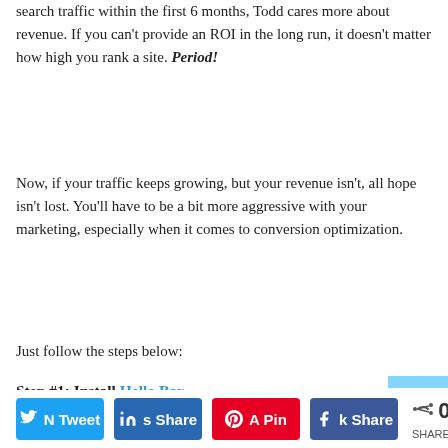search traffic within the first 6 months, Todd cares more about revenue. If you can't provide an ROI in the long run, it doesn't matter how high you rank a site. Period!
Now, if your traffic keeps growing, but your revenue isn't, all hope isn't lost. You'll have to be a bit more aggressive with your marketing, especially when it comes to conversion optimization.
Just follow the steps below:
Step #1: Install Hello Bar
If you look at the NeilPatel.com site you'll notice that I have an exit popup.